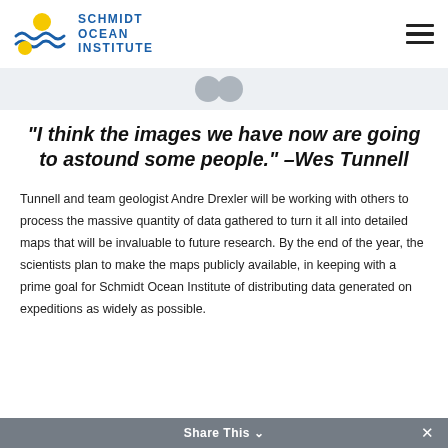[Figure (logo): Schmidt Ocean Institute logo with wave and sun graphic and blue text]
[Figure (illustration): Large gray quotation mark decorative element on light gray background]
“I think the images we have now are going to astound some people.” –Wes Tunnell
Tunnell and team geologist Andre Drexler will be working with others to process the massive quantity of data gathered to turn it all into detailed maps that will be invaluable to future research. By the end of the year, the scientists plan to make the maps publicly available, in keeping with a prime goal for Schmidt Ocean Institute of distributing data generated on expeditions as widely as possible.
Share This